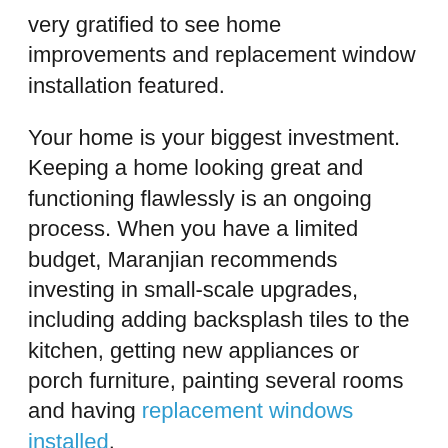very gratified to see home improvements and replacement window installation featured.
Your home is your biggest investment. Keeping a home looking great and functioning flawlessly is an ongoing process. When you have a limited budget, Maranjian recommends investing in small-scale upgrades, including adding backsplash tiles to the kitchen, getting new appliances or porch furniture, painting several rooms and having replacement windows installed.
There's no doubt that a fresh coat of paint can work magic on how much you enjoy your home. We all love new appliances, and autumn in the South Shore is the perfect time for new porch furniture. Who doesn't love backsplash tiles? But of course, our heart belongs to replacement